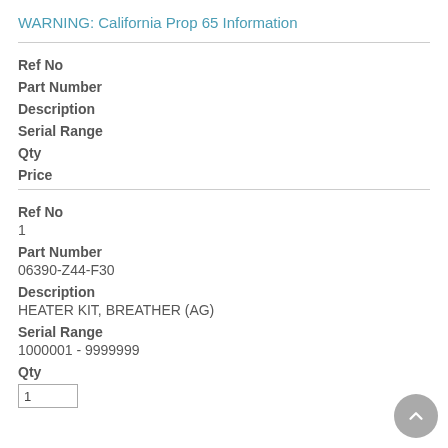WARNING: California Prop 65 Information
Ref No
Part Number
Description
Serial Range
Qty
Price
Ref No
1
Part Number
06390-Z44-F30
Description
HEATER KIT, BREATHER (AG)
Serial Range
1000001 - 9999999
Qty
1